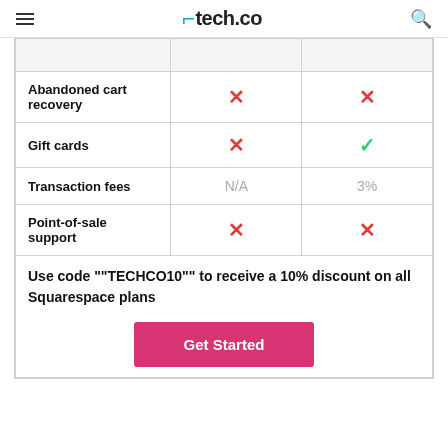tech.co
|  |  |  |
| --- | --- | --- |
| Abandoned cart recovery | ✗ | ✗ |
| Gift cards | ✗ | ✓ |
| Transaction fees | N/A | 3% |
| Point-of-sale support | ✗ | ✗ |
Use code ""TECHCO10"" to receive a 10% discount on all Squarespace plans
Get Started